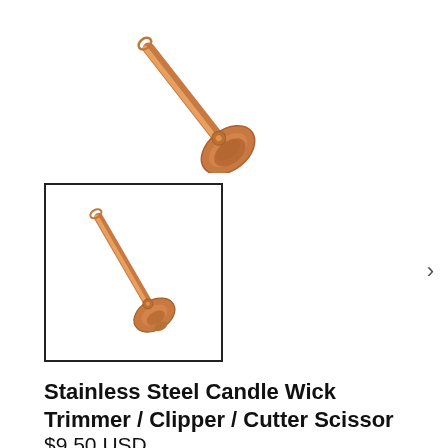[Figure (photo): Copper/rose gold stainless steel candle wick trimmer shown from above at an angle, close-up view of the curved cutter head]
[Figure (photo): Thumbnail image of the full copper/rose gold candle wick trimmer tool, full length view, inside a bordered thumbnail box]
Stainless Steel Candle Wick Trimmer / Clipper / Cutter Scissor
$9.50 USD
Shipping calculated at checkout.
Pay in 4 interest-free installments for orders over $50 with
shop Pay  Learn more
QUANTITY